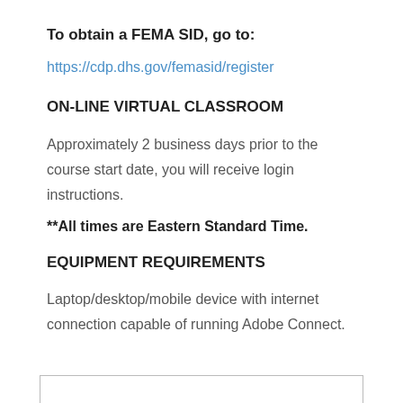To obtain a FEMA SID, go to:
https://cdp.dhs.gov/femasid/register
ON-LINE VIRTUAL CLASSROOM
Approximately 2 business days prior to the course start date, you will receive login instructions.
**All times are Eastern Standard Time.
EQUIPMENT REQUIREMENTS
Laptop/desktop/mobile device with internet connection capable of running Adobe Connect.